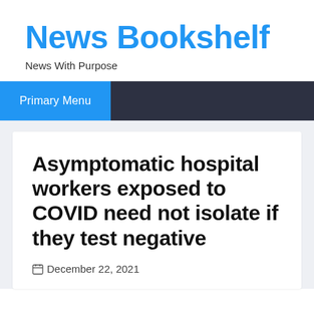News Bookshelf
News With Purpose
Primary Menu
Asymptomatic hospital workers exposed to COVID need not isolate if they test negative
December 22, 2021